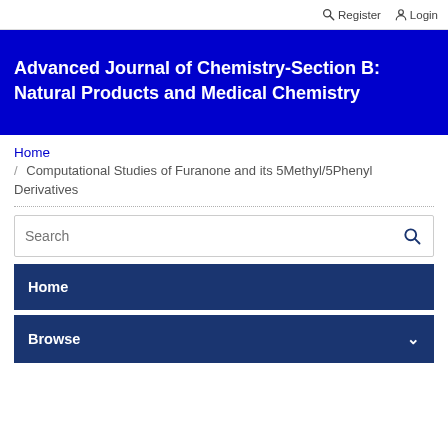Register   Login
Advanced Journal of Chemistry-Section B: Natural Products and Medical Chemistry
Home / Computational Studies of Furanone and its 5Methyl/5Phenyl Derivatives
Search
Home
Browse